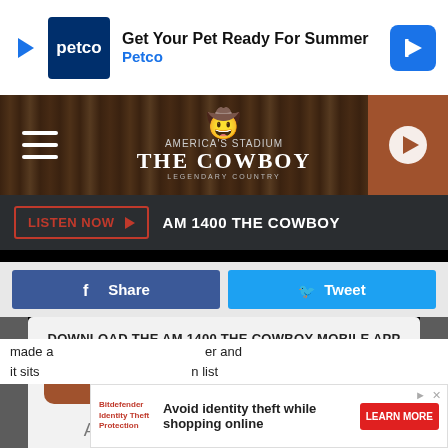[Figure (screenshot): Petco advertisement banner: 'Get Your Pet Ready For Summer' with Petco logo and navigation arrow icon]
[Figure (logo): AM 1400 The Cowboy radio station header with wood-texture background, hamburger menu, cowboy hat logo, and play button]
LISTEN NOW  AM 1400 THE COWBOY
Share  Tweet
DOWNLOAD THE AM 1400 THE COWBOY MOBILE APP
GET OUR FREE MOBILE APP
Also listen on:  amazon alexa
[Figure (screenshot): Bitdefender Identity Theft Protection advertisement: 'Avoid identity theft while shopping online' with Learn More button]
made a  er and it sits  n list